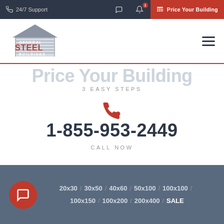24/7 Support | Price Your Building
[Figure (logo): General Steel Buildings logo — house silhouette with horizontal lines and red STEEL text]
Price Your Building
3 EASY STEPS
1-855-953-2449
CALL NOW
20x30 / 30x50 / 40x60 / 50x100 / 100x100 / 100x150 / 100x200 / 200x400 / SALE